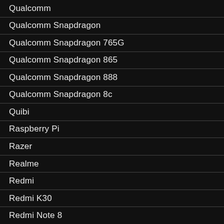Qualcomm
Qualcomm Snapdragon
Qualcomm Snapdragon 765G
Qualcomm Snapdragon 865
Qualcomm Snapdragon 888
Qualcomm Snapdragon 8c
Quibi
Raspberry Pi
Razer
Realme
Redmi
Redmi K30
Redmi Note 8